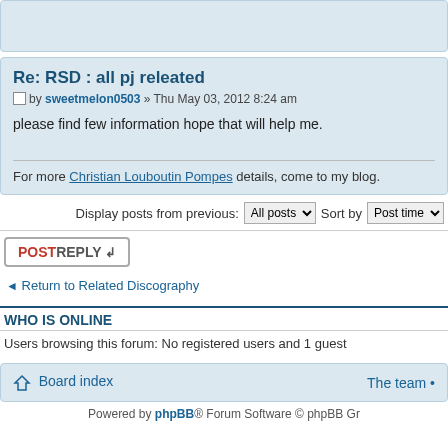[Figure (screenshot): Top portion of a previous forum post, cut off, showing light blue background]
Re: RSD : all pj releated
by sweetmelon0503 » Thu May 03, 2012 8:24 am
please find few information hope that will help me.
For more Christian Louboutin Pompes details, come to my blog.
Display posts from previous: All posts  Sort by Post time
POSTREPLY
Return to Related Discography
WHO IS ONLINE
Users browsing this forum: No registered users and 1 guest
Board index   The team •
Powered by phpBB® Forum Software © phpBB Gr